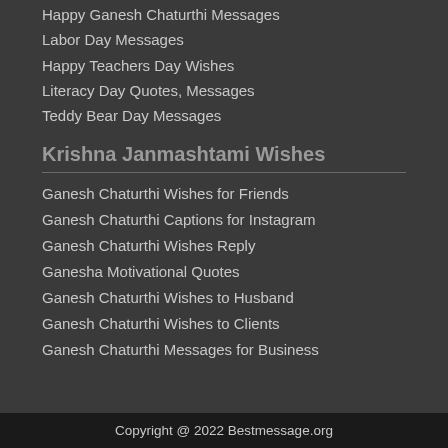Happy Ganesh Chaturthi Messages
Labor Day Messages
Happy Teachers Day Wishes
Literacy Day Quotes, Messages
Teddy Bear Day Messages
Krishna Janmashtami Wishes
Ganesh Chaturthi Wishes for Friends
Ganesh Chaturthi Captions for Instagram
Ganesh Chaturthi Wishes Reply
Ganesha Motivational Quotes
Ganesh Chaturthi Wishes to Husband
Ganesh Chaturthi Wishes to Clients
Ganesh Chaturthi Messages for Business
Copyright @ 2022 Bestmessage.org